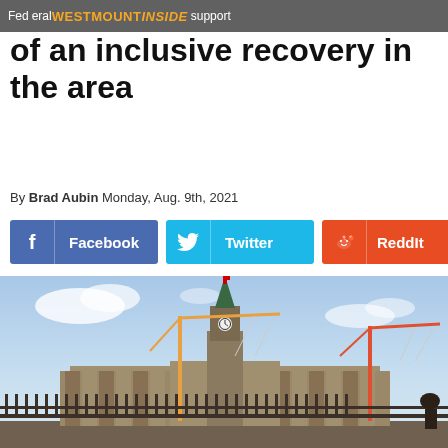WESTMOUNTINSIDE
Federal support of an inclusive recovery in the area
By Brad Aubin Monday, Aug. 9th, 2021
[Figure (infographic): Social share buttons: Facebook, Twitter, RedditIt, and a plus button]
[Figure (photo): Parliament Hill in Ottawa with construction cranes on either side, against a partly cloudy sky]